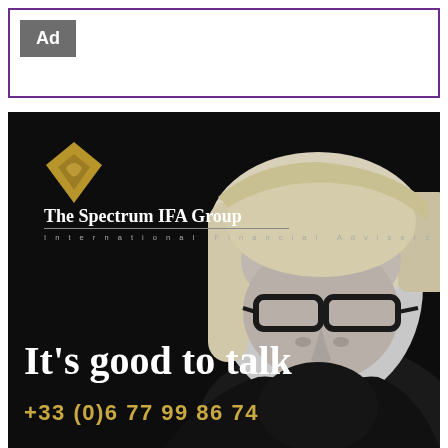[Figure (other): Ad label banner with purple border at top of page, containing a grey 'Ad' badge]
[Figure (photo): Advertisement for The Spectrum IFA Group - International Financial Advisers. Black background with black-and-white photo of a woman with glasses and blonde bob haircut. Contains company logo (gold diamond shape), company name, tagline 'International Financial Advisers', headline text 'It's good to talk', and phone number '+33 (0)6 77 99 86 74' in gold color.]